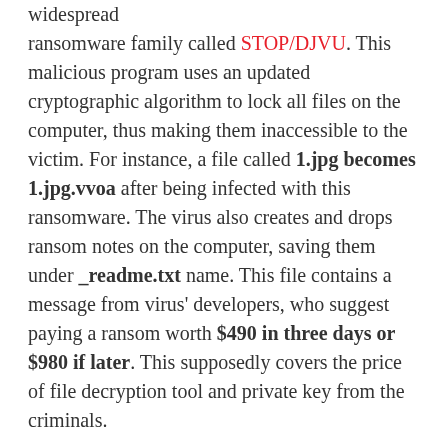widespread ransomware family called STOP/DJVU. This malicious program uses an updated cryptographic algorithm to lock all files on the computer, thus making them inaccessible to the victim. For instance, a file called 1.jpg becomes 1.jpg.vvoa after being infected with this ransomware. The virus also creates and drops ransom notes on the computer, saving them under _readme.txt name. This file contains a message from virus' developers, who suggest paying a ransom worth $490 in three days or $980 if later. This supposedly covers the price of file decryption tool and private key from the criminals.
Unfortunately, file encryption is not the only damage this malicious ransomware does to